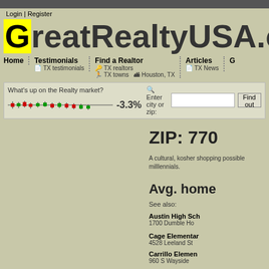Login | Register
GreatRealtyUSA.co
Home | Testimonials | Find a Realtor | Articles | G...
TX testimonials | TX realtors | TX News | TX towns | Houston, TX
[Figure (screenshot): Candlestick mini chart showing real estate market with -3.3% change]
What's up on the Realty market? -3.3%
Enter city or zip:
ZIP: 770
A cultural, kosher shopping possible millennials.
Avg. home
See also:
Austin High Sch
1700 Dumble Ho
Cage Elementar
4528 Leeland St
Carrillo Elemen
960 S Wayside